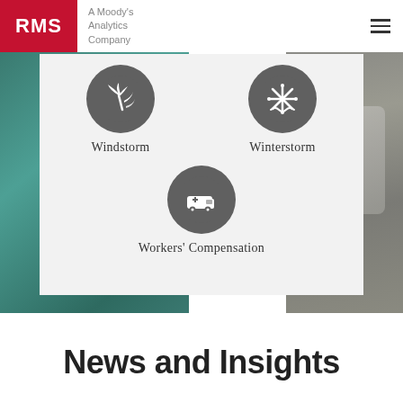RMS — A Moody's Analytics Company
[Figure (illustration): Windstorm icon: dark circle with white stylized wind/palm tree icon]
Windstorm
[Figure (illustration): Winterstorm icon: dark circle with white snowflake/wave icon]
Winterstorm
[Figure (illustration): Workers' Compensation icon: dark circle with white ambulance/medical vehicle icon]
Workers' Compensation
News and Insights